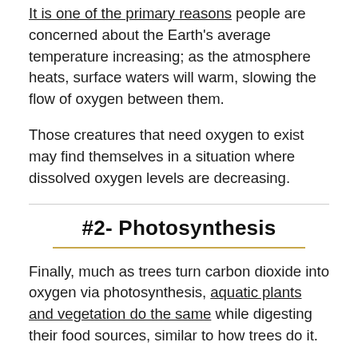It is one of the primary reasons people are concerned about the Earth's average temperature increasing; as the atmosphere heats, surface waters will warm, slowing the flow of oxygen between them.
Those creatures that need oxygen to exist may find themselves in a situation where dissolved oxygen levels are decreasing.
#2- Photosynthesis
Finally, much as trees turn carbon dioxide into oxygen via photosynthesis, aquatic plants and vegetation do the same while digesting their food sources, similar to how trees do it.
A kind of autotrophic plankton known as